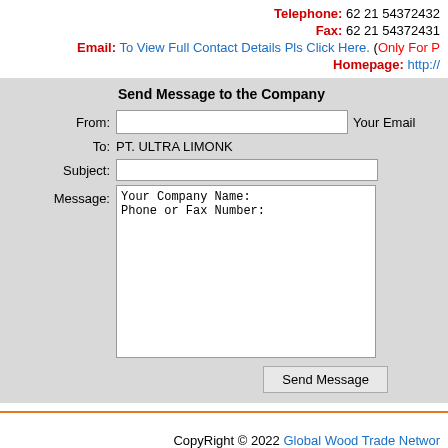Telephone: 62 21 54372432
Fax: 62 21 54372431
Email: To View Full Contact Details Pls Click Here. (Only For P...
Homepage: http://
Send Message to the Company
From: [input] Your Email
To: PT. ULTRA LIMONK
Subject: [input]
Message: Your Company Name:
Phone or Fax Number:
Send Message
CopyRight © 2022 Global Wood Trade Network